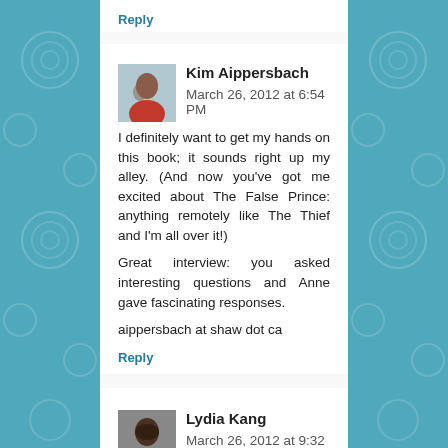Reply
Kim Aippersbach   March 26, 2012 at 6:54 PM

I definitely want to get my hands on this book; it sounds right up my alley. (And now you've got me excited about The False Prince: anything remotely like The Thief and I'm all over it!)

Great interview: you asked interesting questions and Anne gave fascinating responses.

aippersbach at shaw dot ca

Reply
Lydia Kang   March 26, 2012 at 9:32 PM

That sounds like a wonderful MG book! Wow, I'd totally love to read this. :)